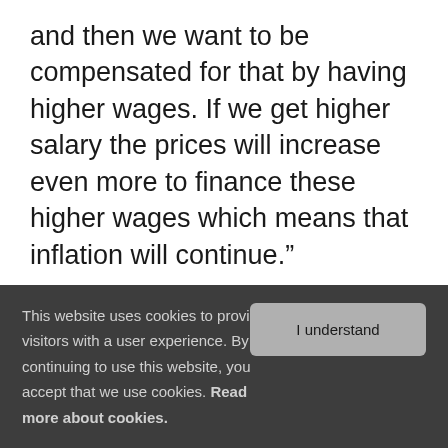and then we want to be compensated for that by having higher wages. If we get higher salary the prices will increase even more to finance these higher wages which means that inflation will continue."
You said that we have the highest inflation in decades. Haven't we heard that before?
"Yes, we have had high inflation
This website uses cookies to provide visitors with a user experience. By continuing to use this website, you accept that we use cookies. Read more about cookies.